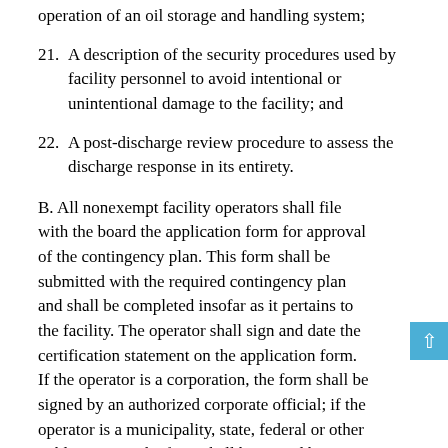operation of an oil storage and handling system;
21. A description of the security procedures used by facility personnel to avoid intentional or unintentional damage to the facility; and
22. A post-discharge review procedure to assess the discharge response in its entirety.
B. All nonexempt facility operators shall file with the board the application form for approval of the contingency plan. This form shall be submitted with the required contingency plan and shall be completed insofar as it pertains to the facility. The operator shall sign and date the certification statement on the application form. If the operator is a corporation, the form shall be signed by an authorized corporate official; if the operator is a municipality, state, federal or other public agency, the form shall be signed by an authorized executive officer or ranking elected official; if the operator is a partnership or sole proprietorship, the form